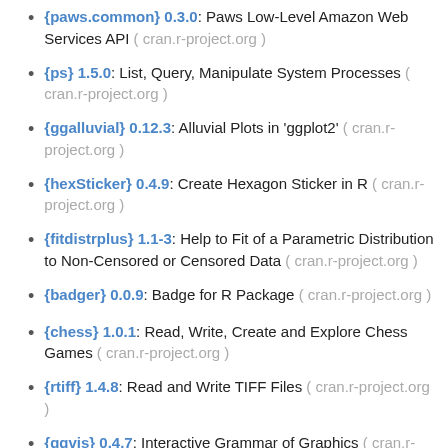{paws.common} 0.3.0: Paws Low-Level Amazon Web Services API ( cran.r-project.org )
{ps} 1.5.0: List, Query, Manipulate System Processes ( cran.r-project.org )
{ggalluvial} 0.12.3: Alluvial Plots in 'ggplot2' ( cran.r-project.org )
{hexSticker} 0.4.9: Create Hexagon Sticker in R ( cran.r-project.org )
{fitdistrplus} 1.1-3: Help to Fit of a Parametric Distribution to Non-Censored or Censored Data ( cran.r-project.org )
{badger} 0.0.9: Badge for R Package ( cran.r-project.org )
{chess} 1.0.1: Read, Write, Create and Explore Chess Games ( cran.r-project.org )
{rtiff} 1.4.8: Read and Write TIFF Files ( cran.r-project.org )
{ggvis} 0.4.7: Interactive Grammar of Graphics ( cran.r-...